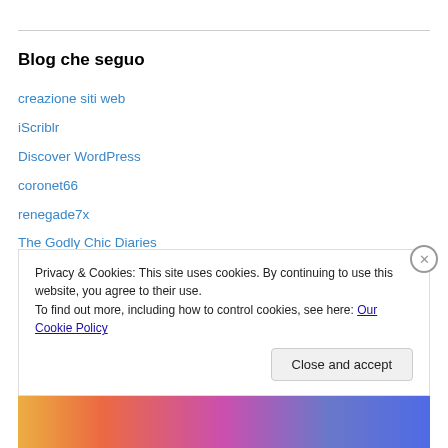Blog che seguo
creazione siti web
iScriblr
Discover WordPress
coronet66
renegade7x
The Godly Chic Diaries
Neha's Blog
History of royal India
The Youthful Traveller
Privacy & Cookies: This site uses cookies. By continuing to use this website, you agree to their use.
To find out more, including how to control cookies, see here: Our Cookie Policy
Close and accept